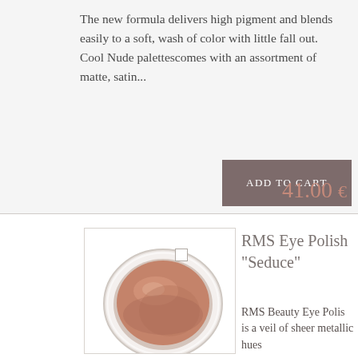The new formula delivers high pigment and blends easily to a soft, wash of color with little fall out. Cool Nude palettescomes with an assortment of matte, satin...
Add to cart
41.00
[Figure (photo): RMS Eye Polish in Seduce shade - a round compact with rosewood/mauve metallic cream eyeshadow in a white circular container]
RMS Eye Polish "Seduce"
RMS Beauty Eye Polis is a veil of sheer metallic hues